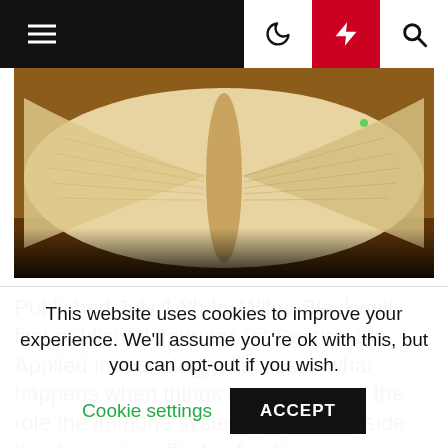Navigation bar with hamburger menu, moon icon, lightning icon, search icon
[Figure (photo): Open book lying flat on a wooden surface, photographed from above, showing spread pages with warm golden-brown tones and black shadow at bottom]
Published July 14th by Wiley-Blackwell first published January 1st Section 2, Applied Immunology, discusses what happens when things go wrong, and the role the immune system plays alongside the damaging effects of a disease, including cancer, immunodeficiency, allergies and transplantation and the beneficial effects of
This website uses cookies to improve your experience. We'll assume you're ok with this, but you can opt-out if you wish. Cookie settings ACCEPT